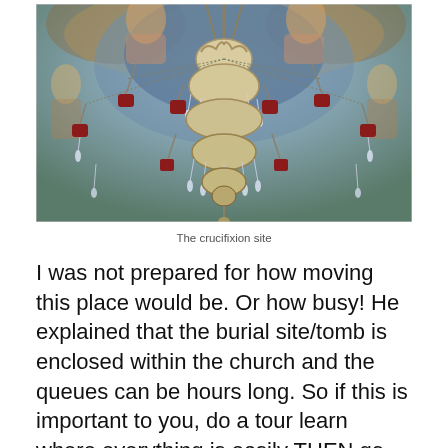[Figure (photo): Ornate chandelier hanging from a ceiling decorated with colorful religious frescoes at the crucifixion site, featuring elaborate metalwork and red glass lanterns.]
The crucifixion site
I was not prepared for how moving this place would be. Or how busy! He explained that the burial site/tomb is enclosed within the church and the queues can be hours long. So if this is important to you, do a tour learn where everything is easily THEN go back early morning when it opens. One girl in the tour stayed to queue but meant she missed so